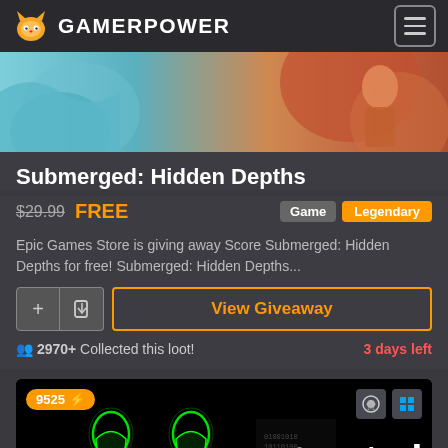GAMERPOWER
[Figure (screenshot): Game banner image for Submerged: Hidden Depths showing colorful underwater/fantasy game art]
Submerged: Hidden Depths
$29.99 FREE  Game  Legendary
Epic Games Store is giving away Score Submerged: Hidden Depths for free! Submerged: Hidden Depths...
View Giveaway
2970+ Collected this loot!   3 days left
[Figure (screenshot): Giveaway card for 'untrusted' game showing green neon figures on black background with GIVEAWAY label and Steam/Windows platform icons. Badge shows 9525 points.]